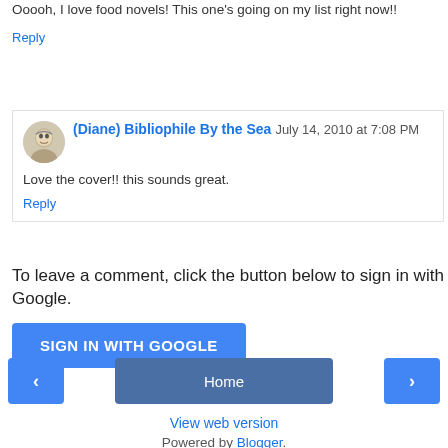Ooooh, I love food novels! This one's going on my list right now!!
Reply
(Diane) Bibliophile By the Sea  July 14, 2010 at 7:08 PM
Love the cover!! this sounds great.
Reply
To leave a comment, click the button below to sign in with Google.
SIGN IN WITH GOOGLE
Home
View web version
Powered by Blogger.